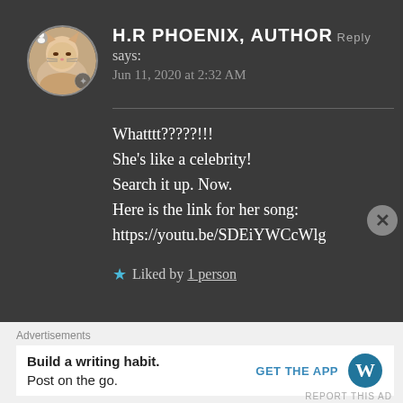[Figure (photo): Circular avatar image of a cat being held in a hand, with a small person icon overlay at top-left]
H.R PHOENIX, AUTHOR says:
Jun 11, 2020 at 2:32 AM
Whatttt?????!!!
She’s like a celebrity!
Search it up. Now.
Here is the link for her song:
https://youtu.be/SDEiYWCcWlg
★ Liked by 1 person
Advertisements
Build a writing habit.
Post on the go.
GET THE APP